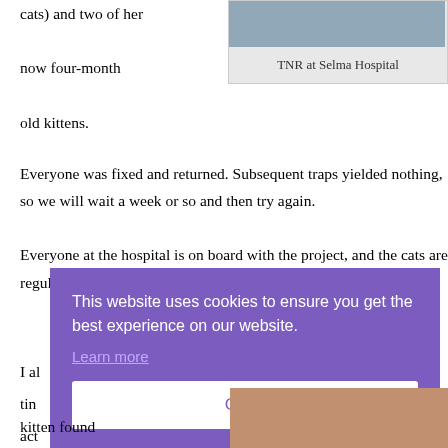cats) and two of her now four-month old kittens.
[Figure (photo): Photo of TNR at Selma Hospital - partial image visible at top]
TNR at Selma Hospital
Everyone was fixed and returned. Subsequent traps yielded nothing, so we will wait a week or so and then try again. Everyone at the hospital is on board with the project, and the cats are regularly provided with food and water.
[Figure (screenshot): Cookie consent overlay with purple background. Text: 'This website uses cookies to ensure you get the best experience on our website.' Link: 'Learn more'. Button: 'Got it']
I al
tin
act
kitten found
[Figure (photo): Partial photo at bottom right corner]